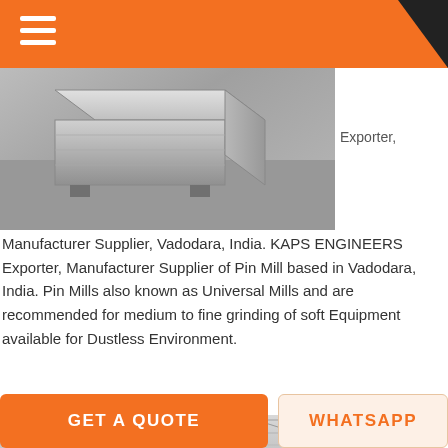[Figure (photo): Metal industrial box/container on a warehouse floor]
Exporter,
Manufacturer Supplier, Vadodara, India. KAPS ENGINEERS Exporter, Manufacturer Supplier of Pin Mill based in Vadodara, India. Pin Mills also known as Universal Mills and are recommended for medium to fine grinding of soft Equipment available for Dustless Environment.
GET PRICE
[Figure (photo): Interior of a large industrial facility with roof trusses and processing equipment]
mineral processing pin mill grinding
GET A QUOTE
WHATSAPP